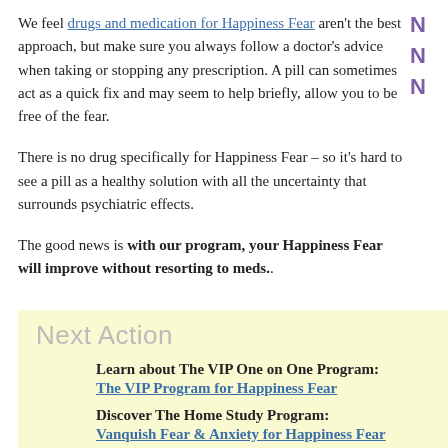We feel drugs and medication for Happiness Fear aren't the best approach, but make sure you always follow a doctor's advice when taking or stopping any prescription. A pill can sometimes act as a quick fix and may seem to help briefly, allow you to be free of the fear.
There is no drug specifically for Happiness Fear – so it's hard to see a pill as a healthy solution with all the uncertainty that surrounds psychiatric effects.
The good news is with our program, your Happiness Fear will improve without resorting to meds..
Next Action
Learn about The VIP One on One Program: The VIP Program for Happiness Fear
Discover The Home Study Program: Vanquish Fear & Anxiety for Happiness Fear